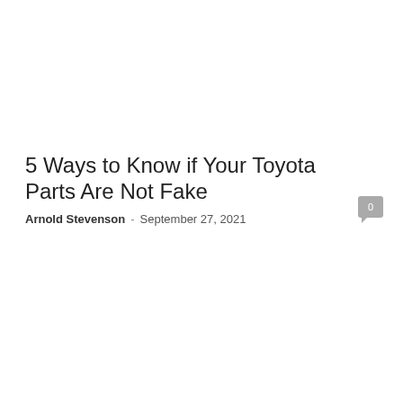5 Ways to Know if Your Toyota Parts Are Not Fake
Arnold Stevenson  -  September 27, 2021